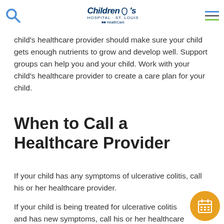Children's Hospital · St. Louis — BJC HealthCare
Your child should learn what foods trigger his or her symptoms and avoid them. You and your child's healthcare provider should make sure your child gets enough nutrients to grow and develop well. Support groups can help you and your child. Work with your child's healthcare provider to create a care plan for your child.
When to Call a Healthcare Provider
If your child has any symptoms of ulcerative colitis, call his or her healthcare provider.
If your child is being treated for ulcerative colitis and has new symptoms, call his or her healthcare